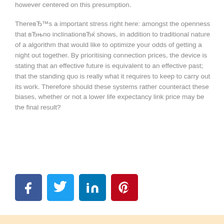however centered on this presumption.
ThereвЂ™s a important stress right here: amongst the openness that вЂњno inclinationвЂќ shows, in addition to traditional nature of a algorithm that would like to optimize your odds of getting a night out together. By prioritising connection prices, the device is stating that an effective future is equivalent to an effective past; that the standing quo is really what it requires to keep to carry out its work. Therefore should these systems rather counteract these biases, whether or not a lower life expectancy link price may be the final result?
[Figure (infographic): Social media share buttons: Facebook (blue), Twitter (light blue), LinkedIn (dark blue), Pinterest (red)]